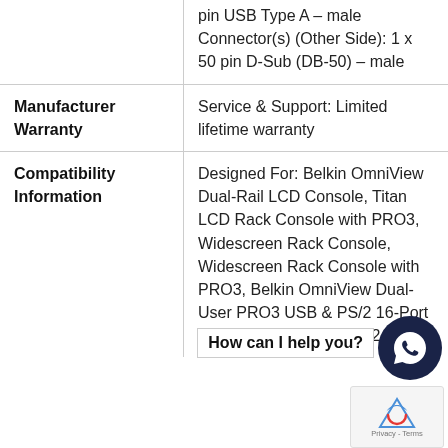|  | pin USB Type A – male Connector(s) (Other Side): 1 x 50 pin D-Sub (DB-50) – male |
| Manufacturer Warranty | Service & Support: Limited lifetime warranty |
| Compatibility Information | Designed For: Belkin OmniView Dual-Rail LCD Console, Titan LCD Rack Console with PRO3, Widescreen Rack Console, Widescreen Rack Console with PRO3, Belkin OmniView Dual-User PRO3 USB & PS/2 16-Port KVM Switch, USB & PS/2 8-Port |